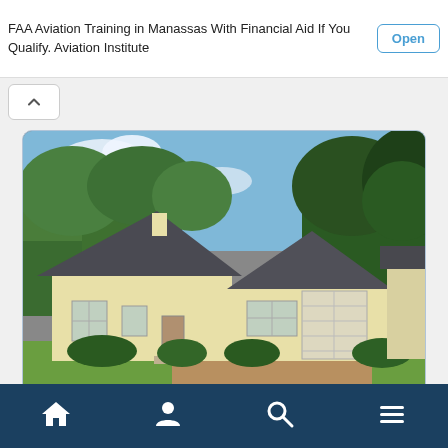FAA Aviation Training in Manassas With Financial Aid If You Qualify. Aviation Institute
Open
[Figure (photo): Exterior photo of a one-story residential house with white/cream siding and dark grey roof, surrounded by green trees and grass, photographed on a sunny day.]
Home | Profile | Search | Menu